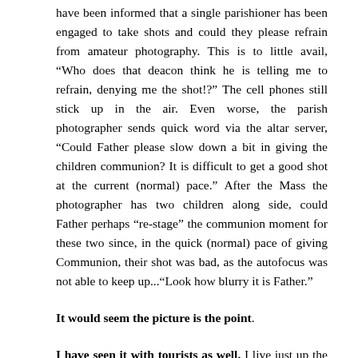have been informed that a single parishioner has been engaged to take shots and could they please refrain from amateur photography. This is to little avail, “Who does that deacon think he is telling me to refrain, denying me the shot!?” The cell phones still stick up in the air. Even worse, the parish photographer sends quick word via the altar server, “Could Father please slow down a bit in giving the children communion? It is difficult to get a good shot at the current (normal) pace.” After the Mass the photographer has two children along side, could Father perhaps “re-stage” the communion moment for these two since, in the quick (normal) pace of giving Communion, their shot was bad, as the autofocus was not able to keep up...“Look how blurry it is Father.”
It would seem the picture is the point.
I have seen it with tourists as well. I live just up the street from the US Capitol and it is fascinating to watch